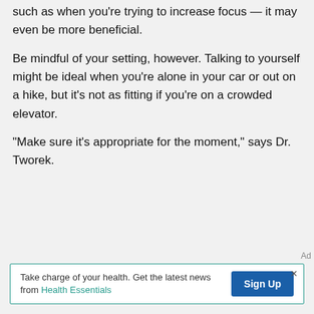such as when you're trying to increase focus — it may even be more beneficial.
Be mindful of your setting, however. Talking to yourself might be ideal when you're alone in your car or out on a hike, but it's not as fitting if you're on a crowded elevator.
“Make sure it’s appropriate for the moment,” says Dr. Tworek.
[Figure (other): Advertisement banner: 'Take charge of your health. Get the latest news from Health Essentials' with a 'Sign Up' button.]